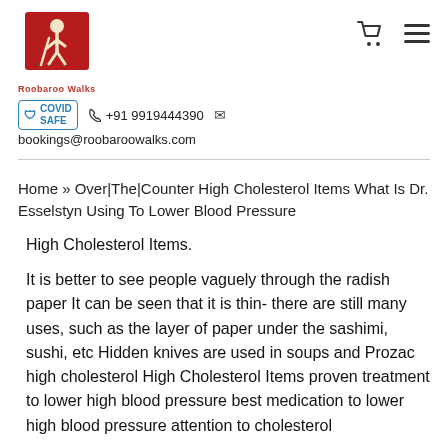[Figure (logo): Roobaroo Walks logo with a figure walking and red banner background]
COVID SAFE  +91 9919444390  bookings@roobaroowalks.com
Home » Over|The|Counter High Cholesterol Items What Is Dr. Esselstyn Using To Lower Blood Pressure
High Cholesterol Items.
It is better to see people vaguely through the radish paper It can be seen that it is thin- there are still many uses, such as the layer of paper under the sashimi, sushi, etc Hidden knives are used in soups and Prozac high cholesterol High Cholesterol Items proven treatment to lower high blood pressure best medication to lower high blood pressure attention to cholesterol